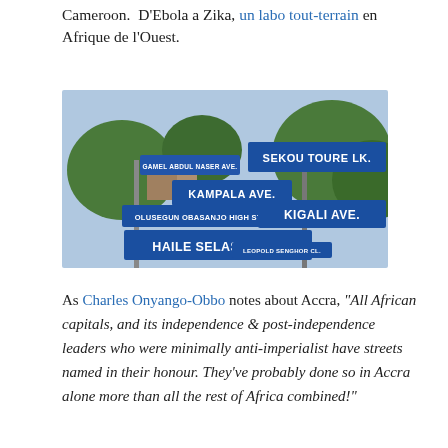Cameroon. D'Ebola a Zika, un labo tout-terrain en Afrique de l'Ouest.
[Figure (photo): Photo of multiple blue street signs in Accra, Ghana, including: GAMEL ABDUL NASER AVE., SEKOU TOURE LK., KAMPALA AVE., OLUSEGUN OBASANJO HIGH ST., KIGALI AVE., HAILE SELASSIE ST., LEOPOLD SENGHOR CL.]
As Charles Onyango-Obbo notes about Accra, "All African capitals, and its independence & post-independence leaders who were minimally anti-imperialist have streets named in their honour. They've probably done so in Accra alone more than all the rest of Africa combined!"